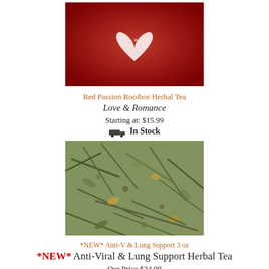[Figure (photo): Red liquid (tea) with a white foam heart shape floating on the surface]
Red Passion Rooibos Herbal Tea
Love & Romance
Starting at: $15.99
In Stock
[Figure (photo): Close-up of dried herbal tea blend with green leaves, herbs, and small pieces]
*NEW* Anti-V & Lung Support 3 oz
*NEW* Anti-Viral & Lung Support Herbal Tea
Our Price $24.99